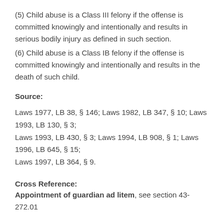(5) Child abuse is a Class III felony if the offense is committed knowingly and intentionally and results in serious bodily injury as defined in such section.
(6) Child abuse is a Class IB felony if the offense is committed knowingly and intentionally and results in the death of such child.
Source:
Laws 1977, LB 38, § 146; Laws 1982, LB 347, § 10; Laws 1993, LB 130, § 3;
Laws 1993, LB 430, § 3; Laws 1994, LB 908, § 1; Laws 1996, LB 645, § 15;
Laws 1997, LB 364, § 9.
Cross Reference:
Appointment of guardian ad litem, see section 43-272.01